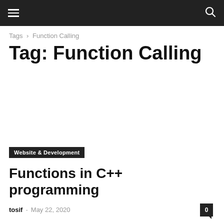Navigation bar with hamburger menu and search icon
Tags › Function Calling
Tag: Function Calling
[Figure (other): Advertisement area (blank white space)]
Website & Development
Functions in C++ programming
tosif - May 22, 2020  0